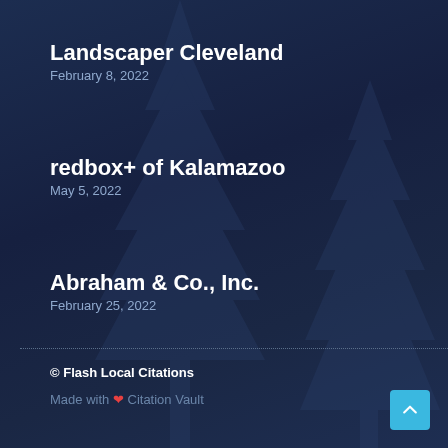Landscaper Cleveland
February 8, 2022
redbox+ of Kalamazoo
May 5, 2022
Abraham & Co., Inc.
February 25, 2022
© Flash Local Citations
Made with ❤ Citation Vault